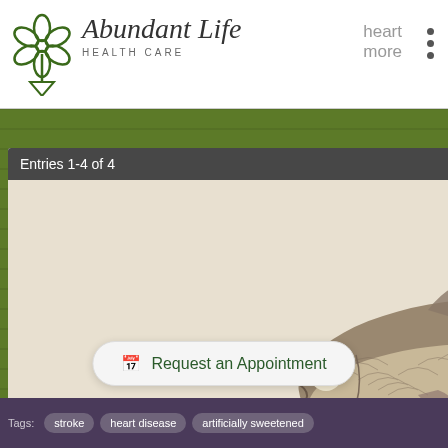[Figure (logo): Abundant Life Health Care logo with decorative tree/flower icon and italic serif brand name]
Abundant Life HEALTH CARE
Entries 1-4 of 4
[Figure (photo): Photo of fish oil gel capsules (golden/yellow) alongside a whole small fish on a light background]
Health, Energy, & Wellness you can
to Sucralose, Adios, Aspartame!
Posted by Connie Halk at 2/28/2019 10:52:00 PM
Read More...
[Figure (other): Request an Appointment button with calendar icon]
Tags:
stroke
heart disease
artificially sweetened